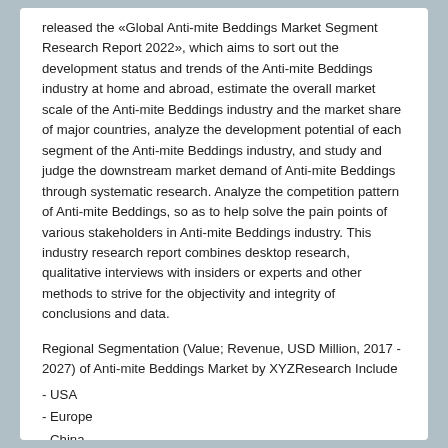released the «Global Anti-mite Beddings Market Segment Research Report 2022», which aims to sort out the development status and trends of the Anti-mite Beddings industry at home and abroad, estimate the overall market scale of the Anti-mite Beddings industry and the market share of major countries, analyze the development potential of each segment of the Anti-mite Beddings industry, and study and judge the downstream market demand of Anti-mite Beddings through systematic research. Analyze the competition pattern of Anti-mite Beddings, so as to help solve the pain points of various stakeholders in Anti-mite Beddings industry. This industry research report combines desktop research, qualitative interviews with insiders or experts and other methods to strive for the objectivity and integrity of conclusions and data.
Regional Segmentation (Value; Revenue, USD Million, 2017 - 2027) of Anti-mite Beddings Market by XYZResearch Include
- USA
- Europe
- China
- Japan
- India
- Korea
- Southeast Asia